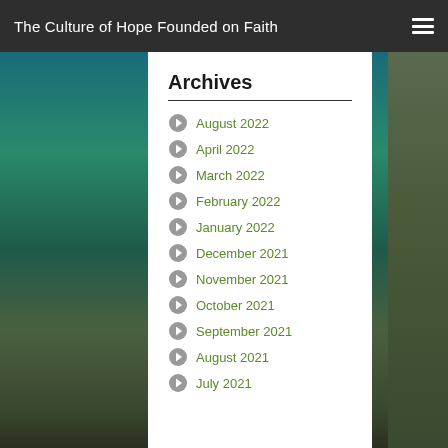The Culture of Hope Founded on Faith
Archives
August 2022
April 2022
March 2022
February 2022
January 2022
December 2021
November 2021
October 2021
September 2021
August 2021
July 2021